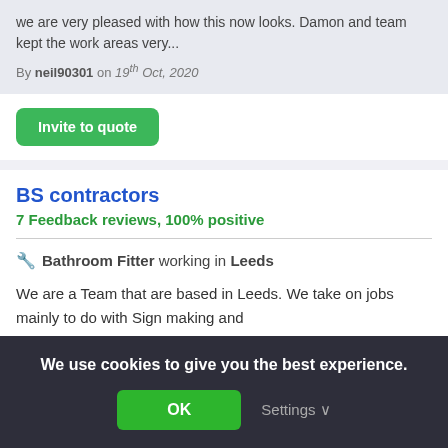we are very pleased with how this now looks. Damon and team kept the work areas very...
By neil90301 on 19th Oct, 2020
Invite to quote
BS contractors
7 Feedback reviews, 100% positive
🔧 Bathroom Fitter working in Leeds
We are a Team that are based in Leeds. We take on jobs mainly to do with Sign making and
We use cookies to give you the best experience.
OK
Settings